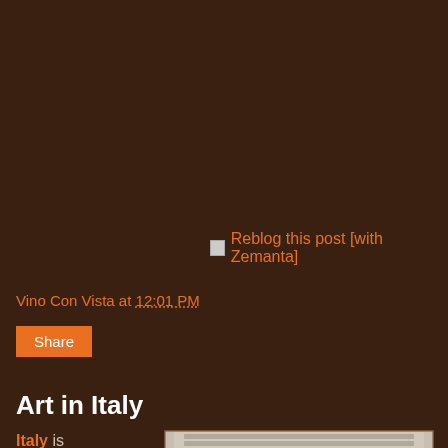[Figure (screenshot): Reblog this post [with Zemanta] button/link with small broken image icon]
Vino Con Vista at 12:01 PM
Share
Art in Italy
Italy is internationally recognized for its vast culture, art developmen
[Figure (photo): The Last Supper painting by Leonardo da Vinci showing figures seated at a long table]